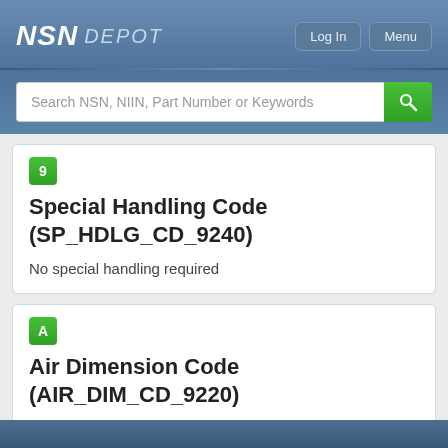NSN DEPOT
Search NSN, NIIN, Part Number or Keywords
Special Handling Code (SP_HDLG_CD_9240)
No special handling required
Air Dimension Code (AIR_DIM_CD_9220)
Shipment is not a consolidation and does not exceed 72 inches in any dimension.